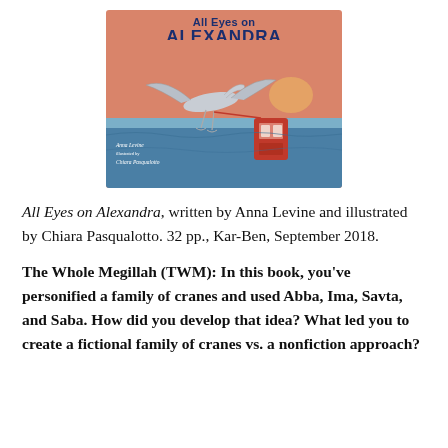[Figure (illustration): Book cover of 'All Eyes on Alexandra' showing a large bird (crane) flying over water with a red cable car/gondola hanging, orange-pink sky background. Text on cover: 'All Eyes on Alexandra', Anna Levine, illustrated by Chiara Pasqualotto.]
All Eyes on Alexandra, written by Anna Levine and illustrated by Chiara Pasqualotto. 32 pp., Kar-Ben, September 2018.
The Whole Megillah (TWM): In this book, you've personified a family of cranes and used Abba, Ima, Savta, and Saba. How did you develop that idea? What led you to create a fictional family of cranes vs. a nonfiction approach?